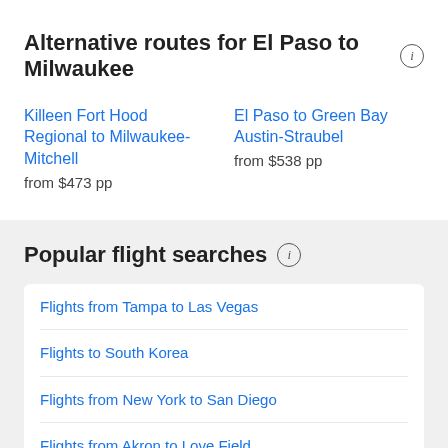Alternative routes for El Paso to Milwaukee
Killeen Fort Hood Regional to Milwaukee-Mitchell
from $473 pp
El Paso to Green Bay Austin-Straubel
from $538 pp
Popular flight searches
Flights from Tampa to Las Vegas
Flights to South Korea
Flights from New York to San Diego
Flights from Akron to Love Field
Flights to Portland
Flights to Thailand
Flights from New Jersey to California